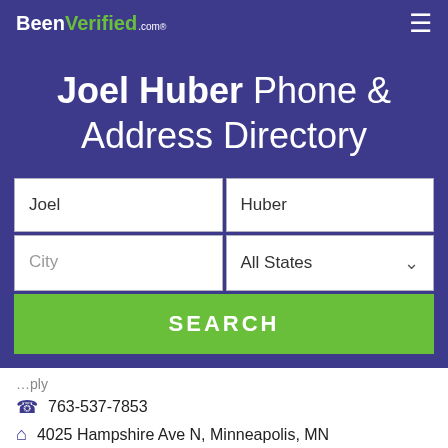BeenVerified.com
Joel Huber Phone & Address Directory
Joel | Huber
City | All States
SEARCH
763-537-7853
4025 Hampshire Ave N, Minneapolis, MN
Peter J Huber, Greg J Huber